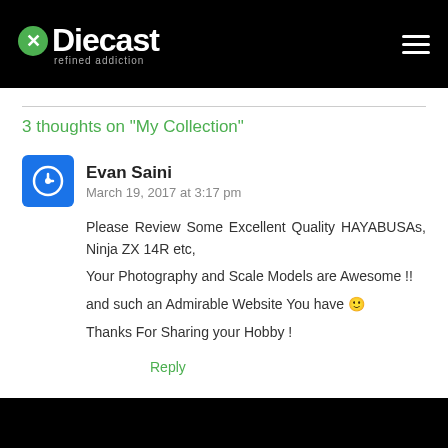Diecast - refined addiction
3 thoughts on “My Collection”
Evan Saini
March 19, 2017 at 3:17 pm
Please Review Some Excellent Quality HAYABUSAs, Ninja ZX 14R etc,
Your Photography and Scale Models are Awesome !!
and such an Admirable Website You have 🙂
Thanks For Sharing your Hobby !
Reply